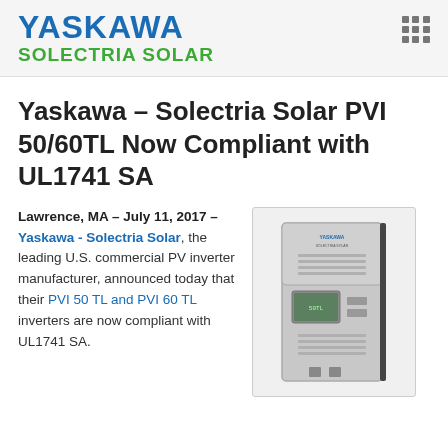YASKAWA SOLECTRIA SOLAR
Yaskawa – Solectria Solar PVI 50/60TL Now Compliant with UL1741 SA
[Figure (photo): Photo of a Yaskawa Solectria Solar PVI 50/60TL commercial PV inverter unit, gray metal enclosure with display panel]
Lawrence, MA – July 11, 2017 – Yaskawa - Solectria Solar, the leading U.S. commercial PV inverter manufacturer, announced today that their PVI 50 TL and PVI 60 TL inverters are now compliant with UL1741 SA.